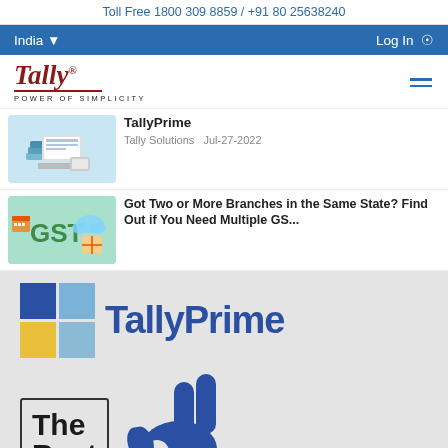Toll Free 1800 309 8859 / +91 80 25638240
India  Log In
[Figure (logo): Tally logo with 'POWER OF SIMPLICITY' tagline and hamburger menu icon]
[Figure (photo): Article thumbnail: books and laptop]
TallyPrime
Tally Solutions   Jul-27-2022
[Figure (photo): Article thumbnail: GST illustration with colorful icons]
Got Two or More Branches in the Same State? Find Out if You Need Multiple GS...
[Figure (illustration): TallyPrime featured banner with logo squares, TallyPrime text, and hand making OK/victory gesture. Contains text 'The Best' in a bordered box.]